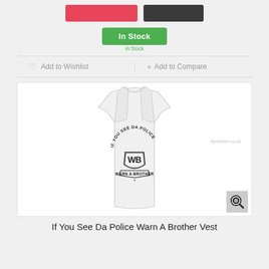[Figure (other): Two color swatch buttons: red and dark/black]
In Stock
Add to Wishlist
+ Add to Compare
[Figure (photo): White sleeveless tank/vest top with 'IF YOU SEE DA POLICE WARN A BROTHER' graphic print with WB shield logo design. Watermark reads tflysticker.co.uk]
If You See Da Police Warn A Brother Vest